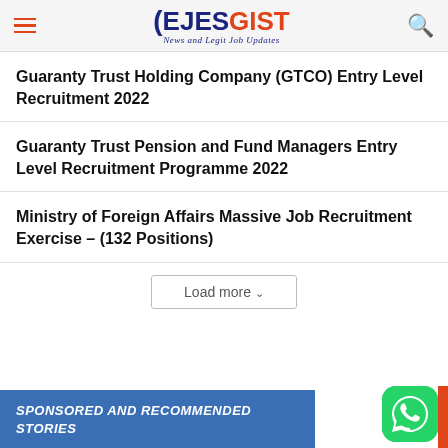EJESGIST — News and Legit Job Updates
Guaranty Trust Holding Company (GTCO) Entry Level Recruitment 2022
Guaranty Trust Pension and Fund Managers Entry Level Recruitment Programme 2022
Ministry of Foreign Affairs Massive Job Recruitment Exercise – (132 Positions)
Load more
SPONSORED AND RECOMMENDED STORIES